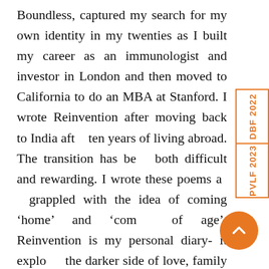Boundless, captured my search for my own identity in my twenties as I built my career as an immunologist and investor in London and then moved to California to do an MBA at Stanford. I wrote Reinvention after moving back to India after ten years of living abroad. The transition has been both difficult and rewarding. I wrote these poems as I grappled with the idea of coming ‘home’ and ‘coming of age’. Reinvention is my personal diary- it explores the darker side of love, family and ambition. It attempts to answer questions like Can we preserve our identity while being part of multiple families? What sacrifices do we have to make for success? Can we have it all and keep it? Any anecdote that you will like to share from your journey of being